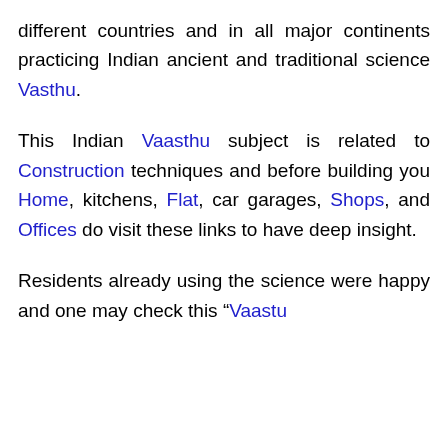different countries and in all major continents practicing Indian ancient and traditional science Vasthu. This Indian Vaasthu subject is related to Construction techniques and before building you Home, kitchens, Flat, car garages, Shops, and Offices do visit these links to have deep insight. Residents already using the science were happy and one may check this “Vaastu